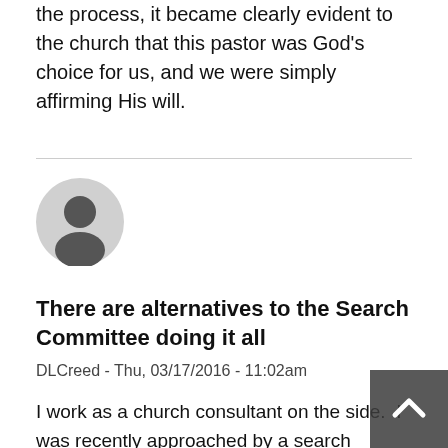the process, it became clearly evident to the church that this pastor was God's choice for us, and we were simply affirming His will.
[Figure (illustration): Generic user avatar icon — a circular dark grey silhouette of a person on a light grey circle background]
There are alternatives to the Search Committee doing it all
DLCreed - Thu, 03/17/2016 - 11:02am
I work as a church consultant on the side.  I was recently approached by a search committee that had been looking for a new lead pastor for the last 28 months. (They'd had two unusual situations where a call to serve did not work out during that time.)  They were exhausted and over their head.  They hired me to lead the search process.  It took